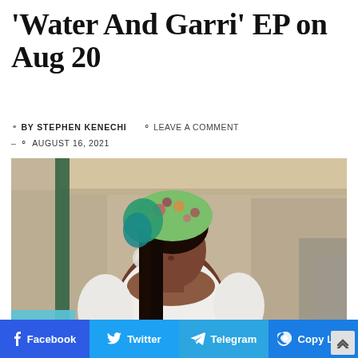'Water And Garri' EP on Aug 20
BY STEPHEN KENECHI   ◯ LEAVE A COMMENT  –  ◯ AUGUST 16, 2021
[Figure (photo): A woman wearing a colorful headscarf and white off-shoulder top with a green skirt, sitting near a golf cart outdoors in a sandy/dusty environment]
Facebook   Twitter   Telegram   Copy Link